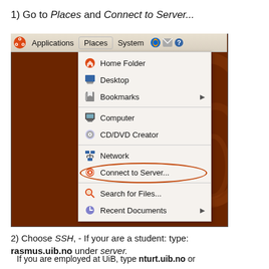1) Go to Places and Connect to Server...
[Figure (screenshot): Ubuntu desktop screenshot showing the Places menu open with items: Home Folder, Desktop, Bookmarks, Computer, CD/DVD Creator, Network, Connect to Server... (highlighted with an oval), Search for Files..., Recent Documents]
2) Choose SSH, - If your are a student: type: rasmus.uib.no under server.
If you are employed at UiB, type nturt.uib.no or